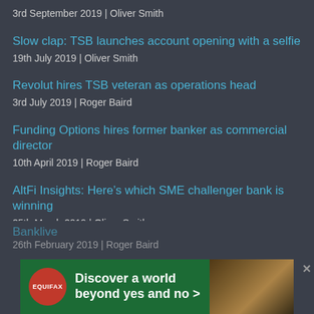3rd September 2019 | Oliver Smith
Slow clap: TSB launches account opening with a selfie
19th July 2019 | Oliver Smith
Revolut hires TSB veteran as operations head
3rd July 2019 | Roger Baird
Funding Options hires former banker as commercial director
10th April 2019 | Roger Baird
AltFi Insights: Here's which SME challenger bank is winning
25th March 2019 | Oliver Smith
Bank... SME... live
26th February 2019 | Roger Baird
[Figure (infographic): Equifax advertisement banner: green background with Equifax logo (red circle), text 'Discover a world beyond yes and no >' in white bold, and a decorative image of hands/nature on the right side. Close button (x) in top right corner.]